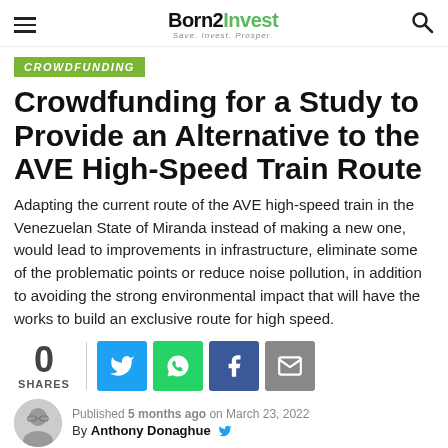Born2Invest — Save. Invest. Prosper.
CROWDFUNDING
Crowdfunding for a Study to Provide an Alternative to the AVE High-Speed Train Route
Adapting the current route of the AVE high-speed train in the Venezuelan State of Miranda instead of making a new one, would lead to improvements in infrastructure, eliminate some of the problematic points or reduce noise pollution, in addition to avoiding the strong environmental impact that will have the works to build an exclusive route for high speed.
0 SHARES
Published 5 months ago on March 23, 2022
By Anthony Donaghue